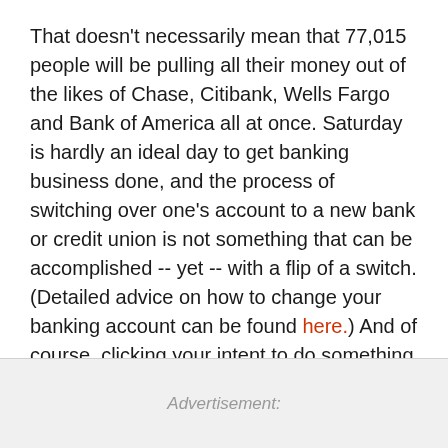That doesn't necessarily mean that 77,015 people will be pulling all their money out of the likes of Chase, Citibank, Wells Fargo and Bank of America all at once. Saturday is hardly an ideal day to get banking business done, and the process of switching over one's account to a new bank or credit union is not something that can be accomplished -- yet -- with a flip of a switch. (Detailed advice on how to change your banking account can be found here.) And of course, clicking your intent to do something on Facebook is a far cry from actually, well, doing it.
Advertisement: